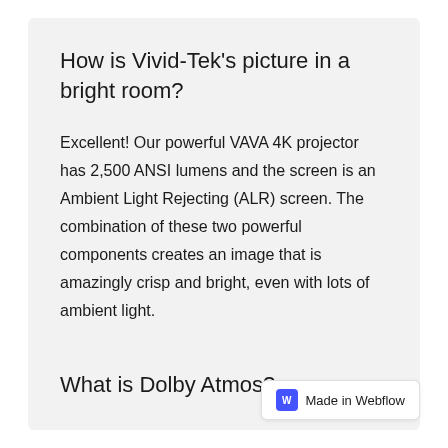How is Vivid-Tek's picture in a bright room?
Excellent! Our powerful VAVA 4K projector has 2,500 ANSI lumens and the screen is an Ambient Light Rejecting (ALR) screen. The combination of these two powerful components creates an image that is amazingly crisp and bright, even with lots of ambient light.
What is Dolby Atmos?